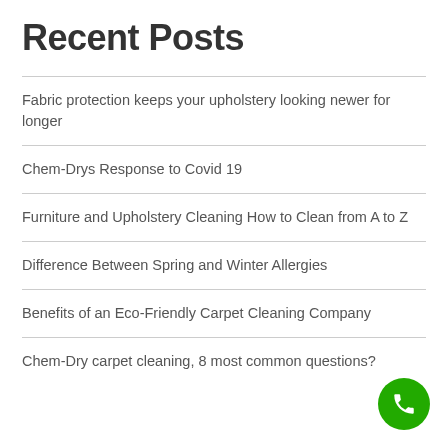Recent Posts
Fabric protection keeps your upholstery looking newer for longer
Chem-Drys Response to Covid 19
Furniture and Upholstery Cleaning How to Clean from A to Z
Difference Between Spring and Winter Allergies
Benefits of an Eco-Friendly Carpet Cleaning Company
Chem-Dry carpet cleaning, 8 most common questions?